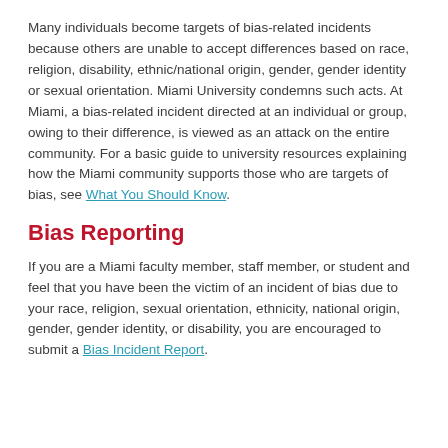Many individuals become targets of bias-related incidents because others are unable to accept differences based on race, religion, disability, ethnic/national origin, gender, gender identity or sexual orientation. Miami University condemns such acts. At Miami, a bias-related incident directed at an individual or group, owing to their difference, is viewed as an attack on the entire community. For a basic guide to university resources explaining how the Miami community supports those who are targets of bias, see What You Should Know.
Bias Reporting
If you are a Miami faculty member, staff member, or student and feel that you have been the victim of an incident of bias due to your race, religion, sexual orientation, ethnicity, national origin, gender, gender identity, or disability, you are encouraged to submit a Bias Incident Report.